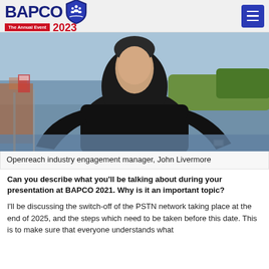BAPCO The Annual Event 2023
[Figure (photo): Openreach industry engagement manager, John Livermore, standing outdoors near a waterfront, wearing a black long-sleeve top.]
Openreach industry engagement manager, John Livermore
Can you describe what you'll be talking about during your presentation at BAPCO 2021. Why is it an important topic?
I'll be discussing the switch-off of the PSTN network taking place at the end of 2025, and the steps which need to be taken before this date. This is to make sure that everyone understands what